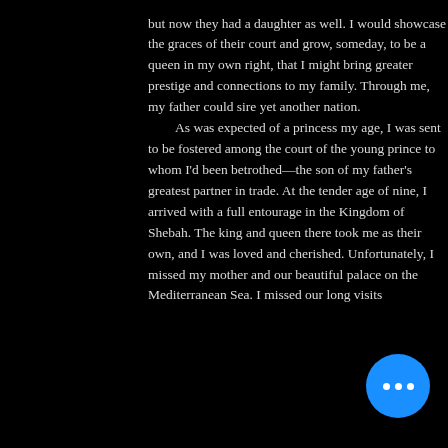but now they had a daughter as well. I would showcase the graces of their court and grow, someday, to be a queen in my own right, that I might bring greater prestige and connections to my family. Through me, my father could sire yet another nation.

As was expected of a princess my age, I was sent to be fostered among the court of the young prince to whom I'd been betrothed—the son of my father's greatest partner in trade.  At the tender age of nine, I arrived with a full entourage in the Kingdom of Shebah.  The king and queen there took me as their own, and I was loved and cherished.  Unfortunately, I missed my mother and our beautiful palace on the Mediterranean Sea.  I missed our long visits